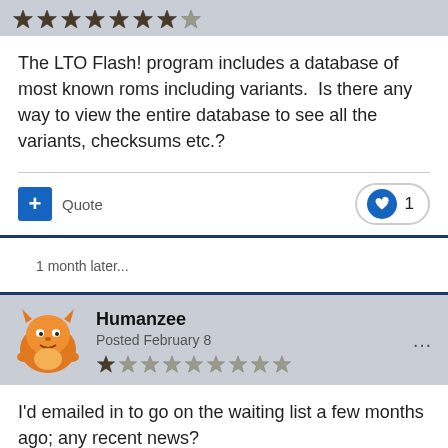[Figure (illustration): Forum post header with pixel-art badge/star icons and partially visible posted date]
The LTO Flash! program includes a database of most known roms including variants.  Is there any way to view the entire database to see all the variants, checksums etc.?
Quote  ♥ 1
1 month later...
[Figure (illustration): Forum user profile section with orange pixel-art avatar and star rating badges for user Humanzee]
Humanzee
Posted February 8
I'd emailed in to go on the waiting list a few months ago; any recent news?